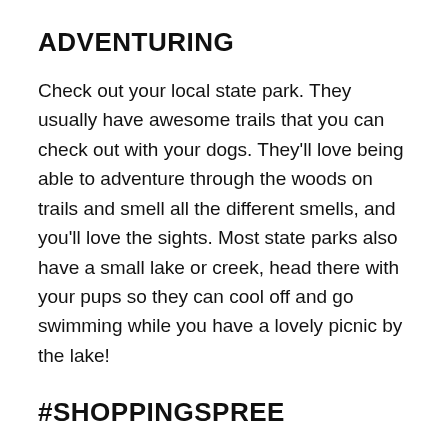ADVENTURING
Check out your local state park. They usually have awesome trails that you can check out with your dogs. They'll love being able to adventure through the woods on trails and smell all the different smells, and you'll love the sights. Most state parks also have a small lake or creek, head there with your pups so they can cool off and go swimming while you have a lovely picnic by the lake!
#SHOPPINGSPREE
Super into shopping? Check out stores you can bring your pup to! Petsmart, Petco, Pet